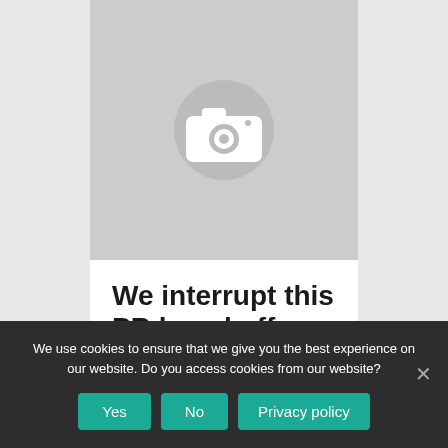[Figure (illustration): Gray image placeholder with a white camera icon centered on a gray circle background]
We interrupt this PB knockoff
We use cookies to ensure that we give you the best experience on our website. Do you access cookies from our website?
Yes | No | Privacy policy